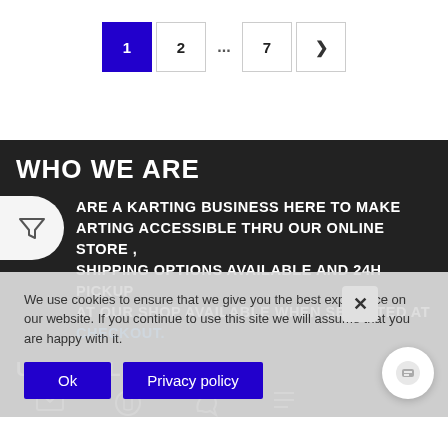[Figure (other): Pagination controls showing: active page 1 (blue), page 2, ellipsis, page 7, and a next arrow button]
WHO WE ARE
ARE A KARTING BUSINESS HERE TO MAKE ARTING ACCESSIBLE THRU OUR ONLINE STORE , SHIPPING OPTIONS AVAILABLE AND 24H PICKUP AT OUR SHOP AVAILABLE WHEN SELECTED AT CHECKOUT.
USEFUL LINKS
We use cookies to ensure that we give you the best experience on our website. If you continue to use this site we will assume that you are happy with it.